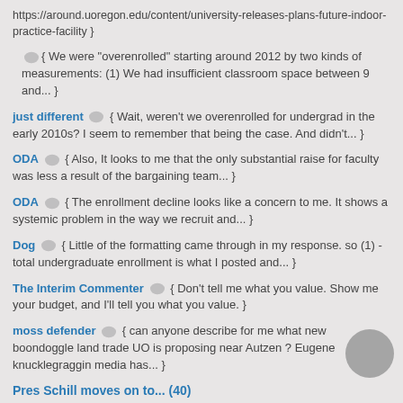https://around.uoregon.edu/content/university-releases-plans-future-indoor-practice-facility }
{ We were "overenrolled" starting around 2012 by two kinds of measurements: (1) We had insufficient classroom space between 9 and... }
just different { Wait, weren't we overenrolled for undergrad in the early 2010s? I seem to remember that being the case. And didn't... }
ODA { Also, It looks to me that the only substantial raise for faculty was less a result of the bargaining team... }
ODA { The enrollment decline looks like a concern to me. It shows a systemic problem in the way we recruit and... }
Dog { Little of the formatting came through in my response. so (1) - total undergraduate enrollment is what I posted and... }
The Interim Commenter { Don't tell me what you value. Show me your budget, and I'll tell you what you value. }
moss defender { can anyone describe for me what new boondoggle land trade UO is proposing near Autzen ? Eugene knucklegraggin media has... }
Pres Schill moves on to... (40)
Townie { Interesting. Maybe a few years down the line you can post what you know. Hopefully this blog still exists then. }
{ No, he wasn't first or second in this *new* search. Two people turned it down